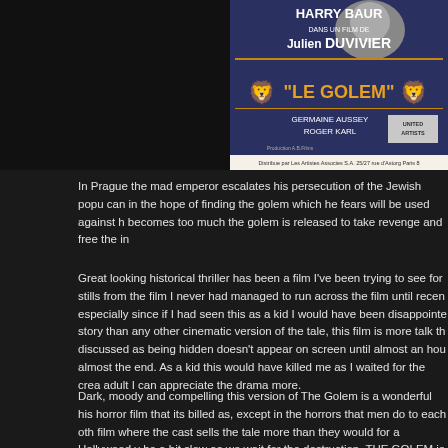[Figure (photo): Movie poster for 'Le Golem' featuring Harry Baur, directed by Julien Duvivier, with Germaine Aussey and Roger Karl, distributed by United Artists]
In Prague the mad emperor escalates his persecution of the Jewish popu can in the hope of finding the golem which he fears will be used against h becomes too much the golem is released to take revenge and free the in
Great looking historical thriller has been a film I've been trying to see for stills from the film I never had managed to run across the film until recen especially since if I had seen this as a kid I would have been disappointe story than any other cinematic version of the tale, this film is more talk th discussed as being hidden doesn't appear on screen until almost an hou almost the end. As a kid this would have killed me as I waited for the crea adult I can appreciate the drama more.
Dark, moody and compelling this version of The Golem is a wonderful his horror film that its billed as, except in the horrors that men do to each oth film where the cast sells the tale more than they would for a Hollywood v be a bit slow as we wait for the destruction, THE GOLEM is still a winner